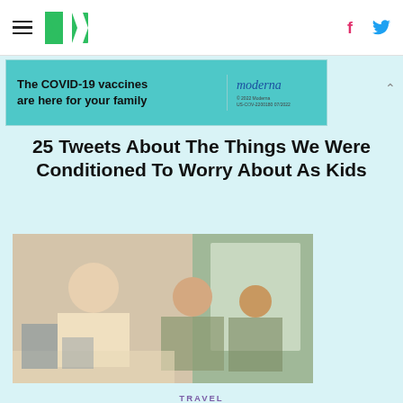HuffPost navigation with hamburger menu, logo, Facebook and Twitter icons
[Figure (infographic): Moderna COVID-19 vaccine advertisement banner: 'The COVID-19 vaccines are here for your family' with Moderna logo]
25 Tweets About The Things We Were Conditioned To Worry About As Kids
[Figure (photo): Group of women taking a selfie on a hotel bed in a luxury room]
TRAVEL
The Rudest Things You Can Do